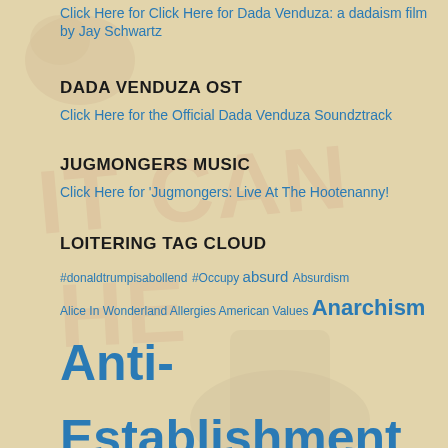Click Here for Click Here for Dada Venduza: a dadaism film by Jay Schwartz
DADA VENDUZA OST
Click Here for the Official Dada Venduza Soundztrack
JUGMONGERS MUSIC
Click Here for 'Jugmongers: Live At The Hootenanny!
LOITERING TAG CLOUD
#donaldtrumpisabollend #Occupy absurd Absurdism Alice In Wonderland Allergies American Values Anarchism Anti-Establishment Apathy Art Artist Artistic Expression Assholes Authenticity Banksters beat poetry Bible Thumpers Big Brother Big Business Black folks Bob Dylan Bohemianism Brian Wilson Canterbury